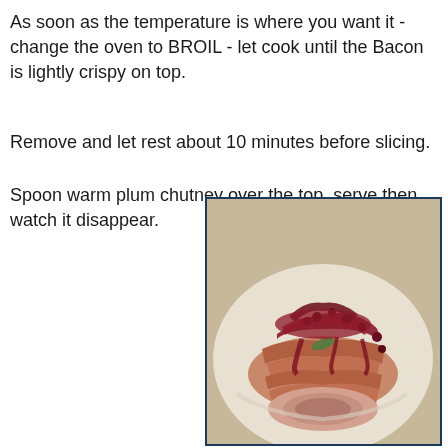As soon as the temperature is where you want it - change the oven to BROIL - let cook until the Bacon is lightly crispy on top.
Remove and let rest about 10 minutes before slicing.
Spoon warm plum chutney over the top, serve then watch it disappear.
[Figure (photo): A roasted pork loin wrapped in bacon, topped with red plum chutney sauce, served on a white platter.]